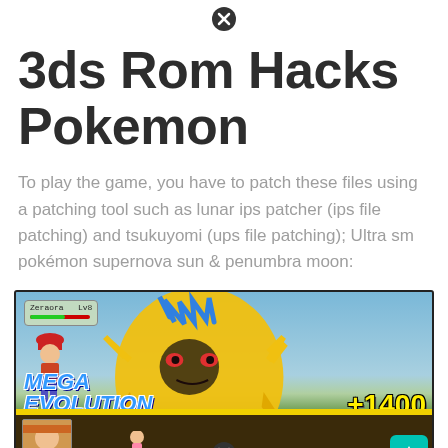[Figure (other): Close/dismiss icon (X in circle) at top center of page]
3ds Rom Hacks Pokemon
To play the game, you have to patch these files using a patching tool such as lunar ips patcher (ips file patching) and tsukuyomi (ups file patching); Ultra sm pokémon supernova sun & penumbra moon:
[Figure (screenshot): Screenshot from a Pokemon 3DS ROM hack game showing Zeraora (large yellow electric Pokemon) in battle. Top-left shows game UI box with 'Zeraora Lv8' info. Yellow text overlays read 'MEGA EVOLUTION' on the left and '+1400 POKEMON' on the right. Bottom shows a trainer portrait, a small female trainer, and a Charizard status box with HP 106/105. A teal up-arrow button appears at bottom right. A close (X) circle icon appears at the bottom center.]